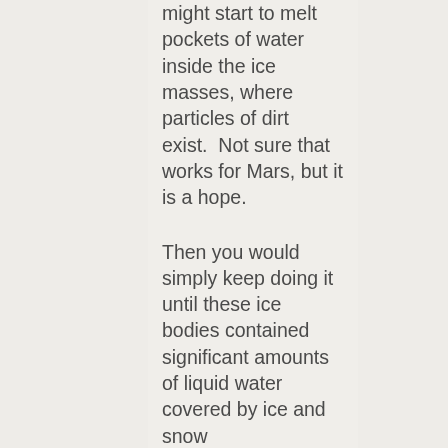might start to melt pockets of water inside the ice masses, where particles of dirt exist.  Not sure that works for Mars, but it is a hope.
Then you would simply keep doing it until these ice bodies contained significant amounts of liquid water covered by ice and snow